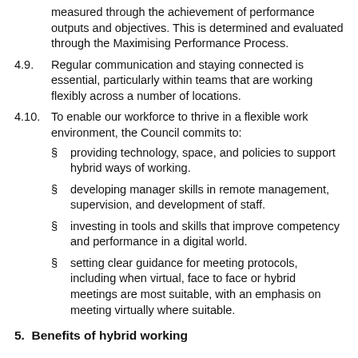4.8. A team member's performance is results focused and is measured through the achievement of performance outputs and objectives. This is determined and evaluated through the Maximising Performance Process.
4.9. Regular communication and staying connected is essential, particularly within teams that are working flexibly across a number of locations.
4.10. To enable our workforce to thrive in a flexible work environment, the Council commits to:
providing technology, space, and policies to support hybrid ways of working.
developing manager skills in remote management, supervision, and development of staff.
investing in tools and skills that improve competency and performance in a digital world.
setting clear guidance for meeting protocols, including when virtual, face to face or hybrid meetings are most suitable, with an emphasis on meeting virtually where suitable.
5. Benefits of hybrid working